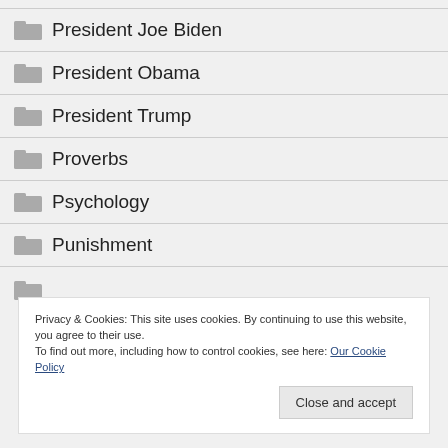President Joe Biden
President Obama
President Trump
Proverbs
Psychology
Punishment
Privacy & Cookies: This site uses cookies. By continuing to use this website, you agree to their use.
To find out more, including how to control cookies, see here: Our Cookie Policy
Close and accept